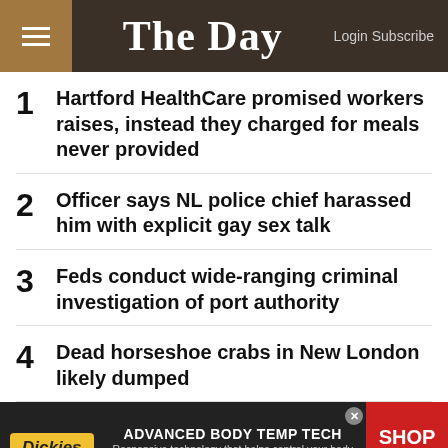The Day — Login Subscribe
1  Hartford HealthCare promised workers raises, instead they charged for meals never provided
2  Officer says NL police chief harassed him with explicit gay sex talk
3  Feds conduct wide-ranging criminal investigation of port authority
4  Dead horseshoe crabs in New London likely dumped
[Figure (infographic): Dickies advertisement banner: ADVANCED BODY TEMP TECH — Responsive technology that helps control your body temp by either cooling or warming when needed. SHOP NOW button on red background.]